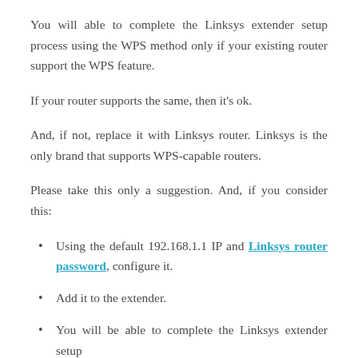You will able to complete the Linksys extender setup process using the WPS method only if your existing router support the WPS feature.
If your router supports the same, then it’s ok.
And, if not, replace it with Linksys router. Linksys is the only brand that supports WPS-capable routers.
Please take this only a suggestion. And, if you consider this:
Using the default 192.168.1.1 IP and Linksys router password, configure it.
Add it to the extender.
You will be able to complete the Linksys extender setup